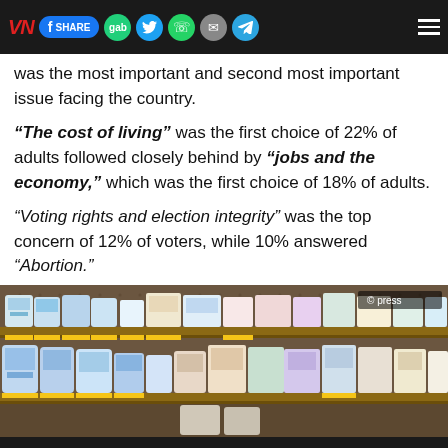VN [logo] | SHARE | gab | Twitter | WhatsApp | Email | Telegram | Menu
was the most important and second most important issue facing the country.
“The cost of living” was the first choice of 22% of adults followed closely behind by “jobs and the economy,” which was the first choice of 18% of adults.
“Voting rights and election integrity” was the top concern of 12% of voters, while 10% answered “Abortion.”
[Figure (photo): Store shelves stocked with baby formula and various packaged goods. Copyright press watermark visible in top right.]
‹ PREV    BOOKMARK US    NEXT ›